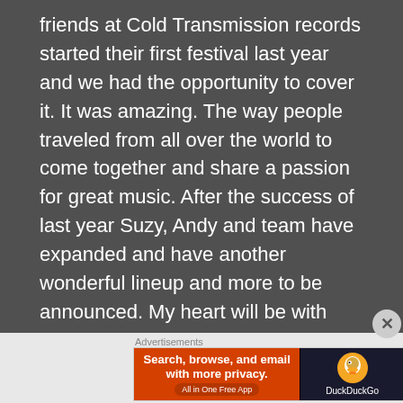friends at Cold Transmission records started their first festival last year and we had the opportunity to cover it. It was amazing. The way people traveled from all over the world to come together and share a passion for great music. After the success of last year Suzy, Andy and team have expanded and have another wonderful lineup and more to be announced. My heart will be with them again. *Great Lineup, Intimate show
ASH CODE
BEDLESS BONES
IAMTHESHADOW
MARK E MOON
DILK
[Figure (screenshot): DuckDuckGo advertisement banner: 'Search, browse, and email with more privacy. All in One Free App' with DuckDuckGo logo on dark background.]